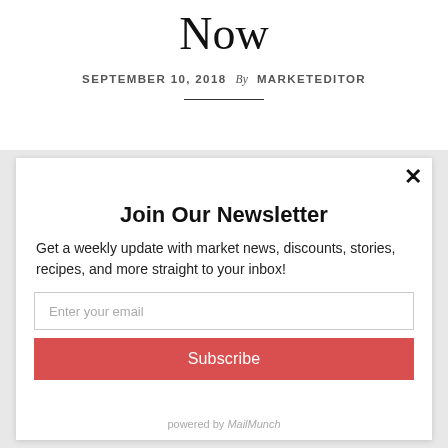Now
SEPTEMBER 10, 2018 By MARKETEDITOR
[Figure (screenshot): Newsletter signup modal popup with close button (×), title 'Join Our Newsletter', description text, email input field, Subscribe button, and 'powered by MailMunch' footer.]